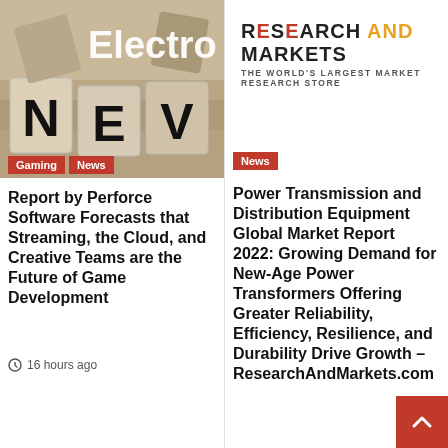[Figure (photo): Wooden dice showing letters N, E, V arranged on a table, with overlay text 'Electro' partially visible at top]
Gaming
News
Report by Perforce Software Forecasts that Streaming, the Cloud, and Creative Teams are the Future of Game Development
16 hours ago
[Figure (logo): Research and Markets logo — THE WORLD'S LARGEST MARKET RESEARCH STORE]
News
Power Transmission and Distribution Equipment Global Market Report 2022: Growing Demand for New-Age Power Transformers Offering Greater Reliability, Efficiency, Resilience, and Durability Drive Growth – ResearchAndMarkets.com